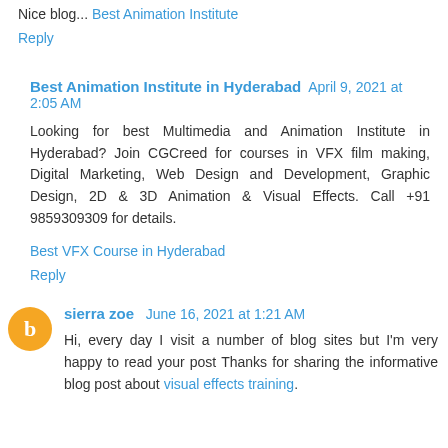Nice blog... Best Animation Institute
Reply
Best Animation Institute in Hyderabad April 9, 2021 at 2:05 AM
Looking for best Multimedia and Animation Institute in Hyderabad? Join CGCreed for courses in VFX film making, Digital Marketing, Web Design and Development, Graphic Design, 2D & 3D Animation & Visual Effects. Call +91 9859309309 for details.
Best VFX Course in Hyderabad
Reply
sierra zoe June 16, 2021 at 1:21 AM
Hi, every day I visit a number of blog sites but I'm very happy to read your post Thanks for sharing the informative blog post about visual effects training.